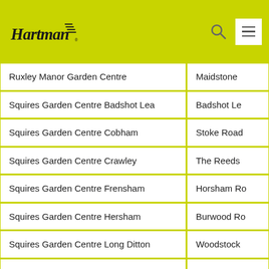Hartman
| Store Name | Address |
| --- | --- |
| Ruxley Manor Garden Centre | Maidstone |
| Squires Garden Centre Badshot Lea | Badshot Le |
| Squires Garden Centre Cobham | Stoke Road |
| Squires Garden Centre Crawley | The Reeds |
| Squires Garden Centre Frensham | Horsham Ro |
| Squires Garden Centre Hersham | Burwood Ro |
| Squires Garden Centre Long Ditton | Woodstock |
| Squires Garden Centre Milford | Portsmouth |
| Squires Garden Centre Reigate | Buckland Ro |
| Squires Garden Centre Shepperton | Halliford Ro |
| Squires Garden Centre Stanmore | Common Ro |